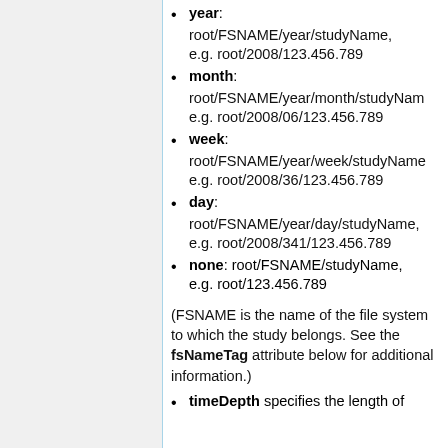year: root/FSNAME/year/studyName, e.g. root/2008/123.456.789
month: root/FSNAME/year/month/studyName, e.g. root/2008/06/123.456.789
week: root/FSNAME/year/week/studyName, e.g. root/2008/36/123.456.789
day: root/FSNAME/year/day/studyName, e.g. root/2008/341/123.456.789
none: root/FSNAME/studyName, e.g. root/123.456.789
(FSNAME is the name of the file system to which the study belongs. See the fsNameTag attribute below for additional information.)
timeDepth specifies the length of